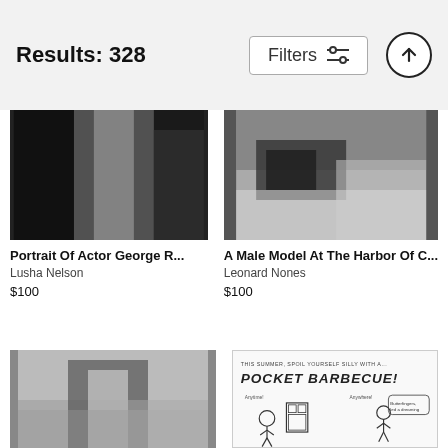Results: 328
[Figure (screenshot): Filters button with slider icon and up-arrow circle button]
[Figure (photo): Portrait of Actor George R... - black and white photo of person]
Portrait Of Actor George R...
Lusha Nelson
$100
[Figure (photo): A Male Model At The Harbor Of C... - black and white photo at harbor]
A Male Model At The Harbor Of C...
Leonard Nones
$100
[Figure (photo): Black and white photo of person outdoors near building]
[Figure (illustration): Cartoon illustration: 'This Summer, Spoil Yourself Silly With A... Pocket Barbecue!' showing people with small barbecue]